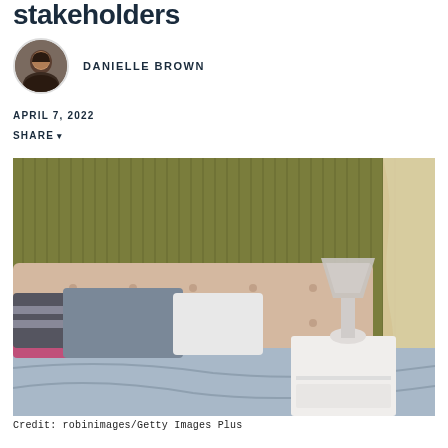stakeholders
DANIELLE BROWN
APRIL 7, 2022
SHARE
[Figure (photo): Bedroom interior with a bed with grey and pink pillows, white tufted headboard, white nightstand with a lamp, and an olive green striped wallpaper background with sheer curtains on the right.]
Credit: robinimages/Getty Images Plus